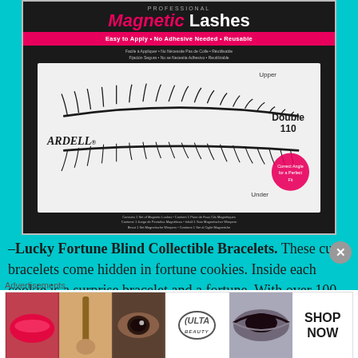[Figure (photo): Product packaging photo of Ardell Professional Magnetic Lashes Double 110, showing a black box with pink branding, two pairs of false eyelashes labeled Upper and Under, and a corner medallion showing application.]
–Lucky Fortune Blind Collectible Bracelets. These cute bracelets come hidden in fortune cookies. Inside each cookie is a surprise bracelet and a fortune. With over 100 bracelets in the offering, there are lots of
[Figure (photo): ULTA Beauty advertisement banner showing beauty product images and a Shop Now call to action.]
Advertisements